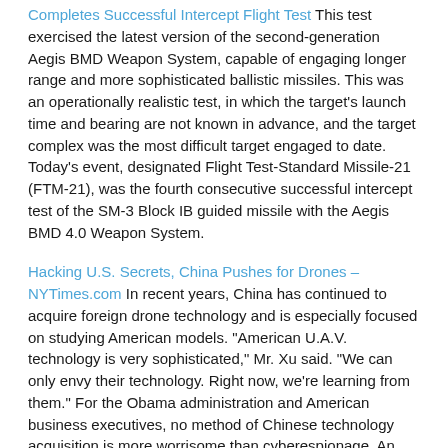Completes Successful Intercept Flight Test This test exercised the latest version of the second-generation Aegis BMD Weapon System, capable of engaging longer range and more sophisticated ballistic missiles. This was an operationally realistic test, in which the target's launch time and bearing are not known in advance, and the target complex was the most difficult target engaged to date. Today's event, designated Flight Test-Standard Missile-21 (FTM-21), was the fourth consecutive successful intercept test of the SM-3 Block IB guided missile with the Aegis BMD 4.0 Weapon System.
Hacking U.S. Secrets, China Pushes for Drones – NYTimes.com In recent years, China has continued to acquire foreign drone technology and is especially focused on studying American models. "American U.A.V. technology is very sophisticated," Mr. Xu said. "We can only envy their technology. Right now, we're learning from them." For the Obama administration and American business executives, no method of Chinese technology acquisition is more worrisome than cyberespionage. An American official confirmed that drone technology had been stolen by hackers.
Predator Drones 'Useless' in Most Wars, Top Air Force General Says | Killer Apps The drones that have proved so useful at hunting al Qaeda are "useless" in nearly every other battlefield scenario, says a top Air Force general. So for the first time, the Air Force is acquiring a different...